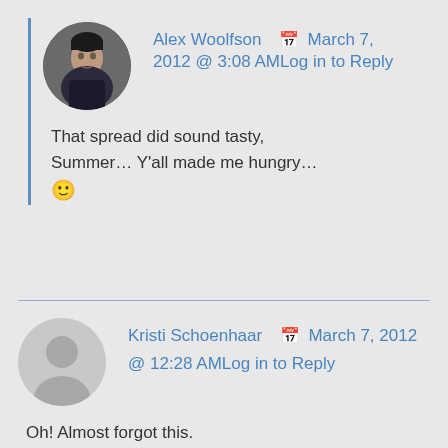[Figure (photo): Circular avatar photo of Alex Woolfson, a man in a dark shirt]
Alex Woolfson  📅 March 7, 2012 @ 3:08 AMLog in to Reply
That spread did sound tasty, Summer… Y’all made me hungry… 😊
[Figure (illustration): Circular generic user avatar (grey silhouette) for Kristi Schoenhaar]
Kristi Schoenhaar  📅 March 7, 2012 @ 12:28 AMLog in to Reply
Oh! Almost forgot this.